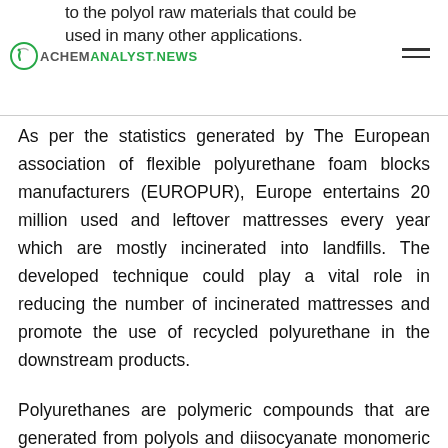to the polyol raw materials that could be used in many other applications. ACHEMANALYST.NEWS
As per the statistics generated by The European association of flexible polyurethane foam blocks manufacturers (EUROPUR), Europe entertains 20 million used and leftover mattresses every year which are mostly incinerated into landfills. The developed technique could play a vital role in reducing the number of incinerated mattresses and promote the use of recycled polyurethane in the downstream products.
Polyurethanes are polymeric compounds that are generated from polyols and diisocyanate monomeric units. Furniture and mattresses are the largest end-user industries for polyurethanes followed by the automobile sector, where